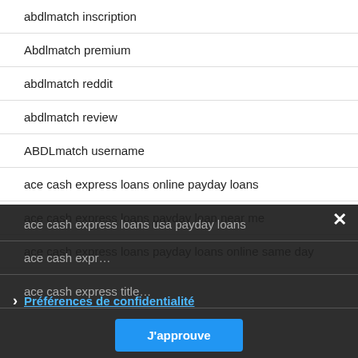abdlmatch inscription
Abdlmatch premium
abdlmatch reddit
abdlmatch review
ABDLmatch username
ace cash express loans online payday loans
ace cash express loans payday loan near me
ace cash express loans payday loans online same day
ace cash express loans usa payday loans
ace cash express loans…
ace cash express title…
Préférences de confidentialité
J'approuve